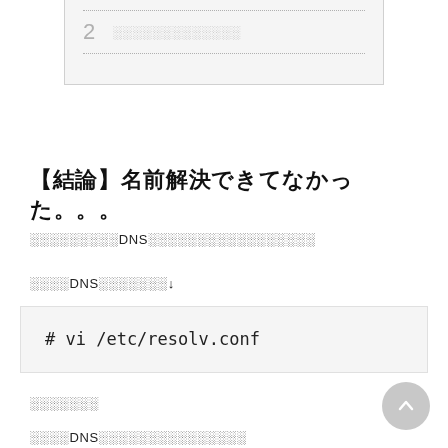2 ░░░░░░░░░░░░░
【結論】名前解決できてなかった。。。
░░░░░░░░░DNS░░░░░░░░░░░░░░░░░
░░░░DNS░░░░░░░↓
# vi /etc/resolv.conf
░░░░░░░
░░░░DNS░░░░░░░░░░░░░░░